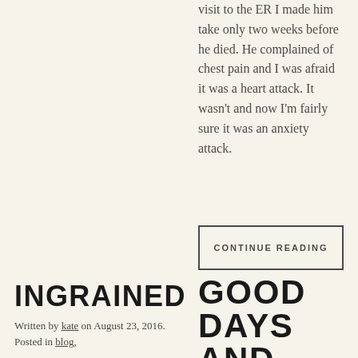visit to the ER I made him take only two weeks before he died. He complained of chest pain and I was afraid it was a heart attack. It wasn't and now I'm fairly sure it was an anxiety attack.
CONTINUE READING
INGRAINED
Written by kate on August 23, 2016. Posted in blog,
GOOD DAYS AND BAD DAYS